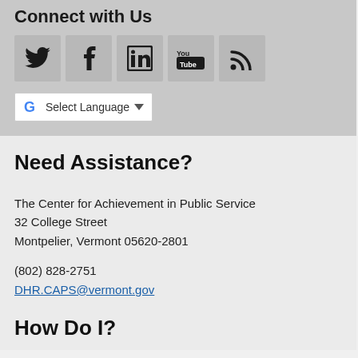Connect with Us
[Figure (infographic): Five social media icon buttons: Twitter (bird), Facebook (f), LinkedIn (in), YouTube (You/Tube), and RSS feed icon, each in a grey square box.]
[Figure (infographic): Google Translate language selector widget with Google 'G' logo, 'Select Language' text, and a dropdown arrow.]
Need Assistance?
The Center for Achievement in Public Service
32 College Street
Montpelier, Vermont 05620-2801
(802) 828-2751
DHR.CAPS@vermont.gov
How Do I?